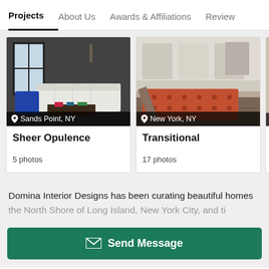Projects | About Us | Awards & Affiliations | Review
[Figure (photo): Interior room photo showing living room with sofa, coffee table, and blue accent chair. Location: Sands Point, NY]
Sheer Opulence
5 photos
[Figure (photo): Interior photo showing beige sectional sofa and rust/orange tufted ottoman on dark wood floor. Location: New York, NY]
Transitional
17 photos
[Figure (photo): Partial interior photo showing a chair and grandfather clock. Location partially visible.]
Tim
6 ph
Domina Interior Designs has been curating beautiful homes
the North Shore of Long Island, New York City, and ti